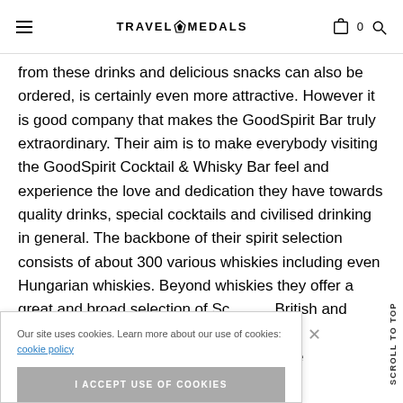TRAVEL MEDALS
from these drinks and delicious snacks can also be ordered, is certainly even more attractive. However it is good company that makes the GoodSpirit Bar truly extraordinary. Their aim is to make everybody visiting the GoodSpirit Cocktail & Whisky Bar feel and experience the love and dedication they have towards quality drinks, special cocktails and civilised drinking in general. The backbone of their spirit selection consists of about 300 various whiskies including even Hungarian whiskies. Beyond whiskies they offer a great and broad selection of Scottish, British and ... as gin, pálinkéa ... o-date
Our site uses cookies. Learn more about our use of cookies: cookie policy
I ACCEPT USE OF COOKIES